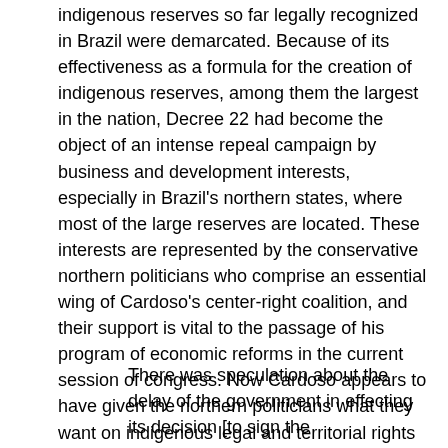indigenous reserves so far legally recognized in Brazil were demarcated. Because of its effectiveness as a formula for the creation of indigenous reserves, among them the largest in the nation, Decree 22 had become the object of an intense repeal campaign by business and development interests, especially in Brazil's northern states, where most of the large reserves are located. These interests are represented by the conservative northern politicians who comprise an essential wing of Cardoso's center-right coalition, and their support is vital to the passage of his program of economic reforms in the current session of congress. Now Cardoso appears to have given the northern politicians what they want on indigenous legal and territorial rights in exchange for their support for his congressional program. This interpretation is strengthened by the timing of the signing of the decree itself. As a statement issued by a leading Brazilian indigenous support organization the Socio-Environmental Institute (ISA), states,
There was speculation about the delay of the government in effecting its decision [to sign the